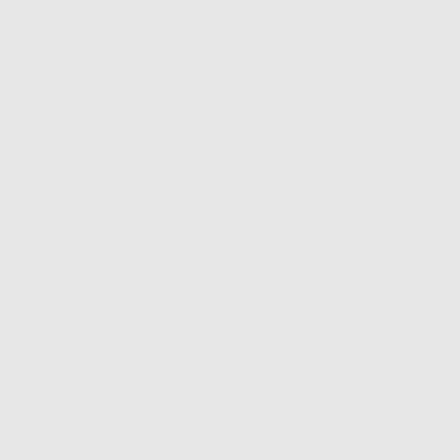in Tracks Behaviours Preferences.
Should Audacity select then act on all, when no audio is selected?
(*) Yes, always
( ) Never
( ) This time, and ask me next time
Press 'Help' to learn more